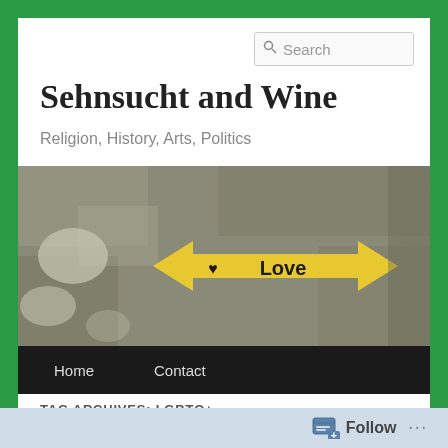Search
Sehnsucht and Wine
Religion, History, Arts, Politics
[Figure (photo): A yellow arrow-shaped sign with a heart symbol and the word LOVE written on it, placed on a rough stone or concrete surface.]
Home
Contact
TAG ARCHIVES: LGBTQ+
Follow ...